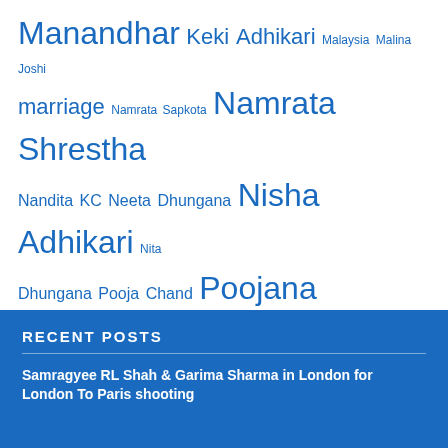[Figure (infographic): Tag cloud of Nepali celebrity names in various font sizes in blue, including Manandhar, Keki Adhikari, Malaysia, Malina Joshi, marriage, Namrata Sapkota, Namrata Shrestha, Nandita KC, Neeta Dhungana, Nisha Adhikari, Nita Dhungana, Pooja Chand, Poojana Pradhan, Pooja Sharma, Priyanka Karki, Rajani KC, Reema Bishowkarma, Reema Bishwokarma, Rekha Thapa, Richa Ghimire, Richa Sharma, Samragyee RL Shah, Sanchita Luitel, Saranga Shrestha, Shilpa Pokharel, Sumina Ghimire, Surabhi Bista, Surabhi Jain, Sushma Karki, Sweta Khadka, USA]
RECENT POSTS
Samragyee RL Shah & Garima Sharma in London for London To Paris shooting